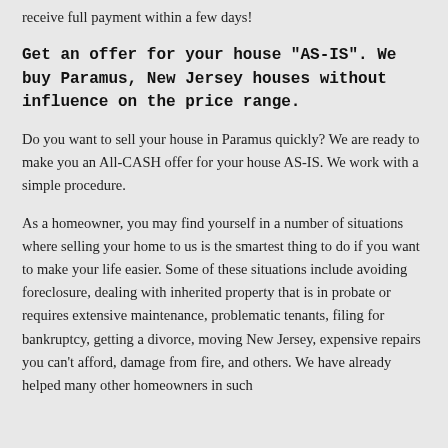receive full payment within a few days!
Get an offer for your house "AS-IS". We buy Paramus, New Jersey houses without influence on the price range.
Do you want to sell your house in Paramus quickly? We are ready to make you an All-CASH offer for your house AS-IS. We work with a simple procedure.
As a homeowner, you may find yourself in a number of situations where selling your home to us is the smartest thing to do if you want to make your life easier. Some of these situations include avoiding foreclosure, dealing with inherited property that is in probate or requires extensive maintenance, problematic tenants, filing for bankruptcy, getting a divorce, moving New Jersey, expensive repairs you can't afford, damage from fire, and others. We have already helped many other homeowners in such